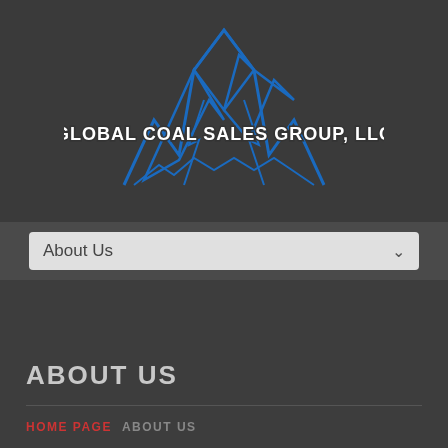[Figure (logo): Global Coal Sales Group LLC logo with blue mountain/lightning bolt graphic and white text on dark background]
About Us
ABOUT US
HOME PAGE   ABOUT US